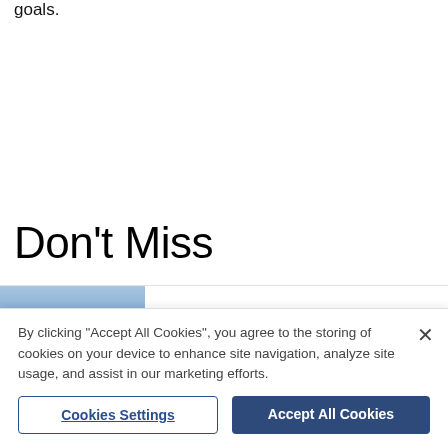goals.
Don't Miss
[Figure (photo): Blue sky thumbnail image for article about car and moped crash in St Albans]
Car and moped crash in St Albans
By clicking "Accept All Cookies", you agree to the storing of cookies on your device to enhance site navigation, analyze site usage, and assist in our marketing efforts.
Cookies Settings
Accept All Cookies